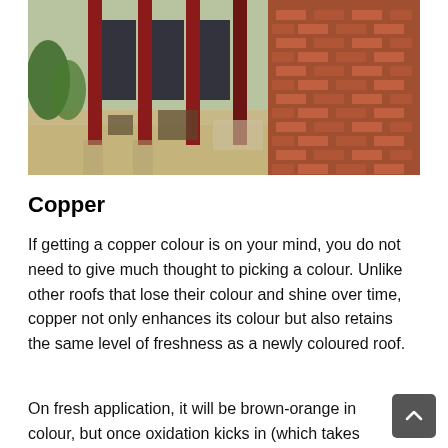[Figure (photo): Exterior of a brick building with red columns and outdoor furniture, showing a covered walkway/patio area with brick walls on the right side.]
Copper
If getting a copper colour is on your mind, you do not need to give much thought to picking a colour. Unlike other roofs that lose their colour and shine over time, copper not only enhances its colour but also retains the same level of freshness as a newly coloured roof.
On fresh application, it will be brown-orange in colour, but once oxidation kicks in (which takes